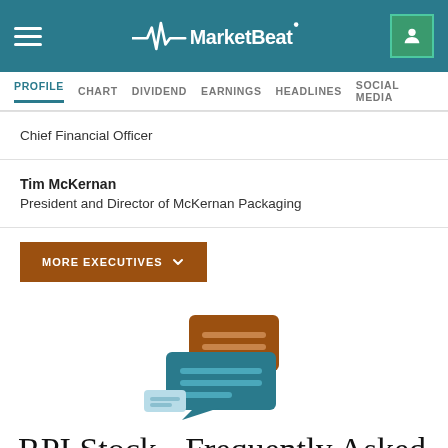MarketBeat
PROFILE  CHART  DIVIDEND  EARNINGS  HEADLINES  SOCIAL MEDIA
Chief Financial Officer
Tim McKernan
President and Director of McKernan Packaging
MORE EXECUTIVES
[Figure (illustration): Two speech bubble icons representing FAQ/Q&A — one brown and one teal, overlapping, with horizontal lines inside suggesting text.]
RPI Stock - Frequently Asked Questions